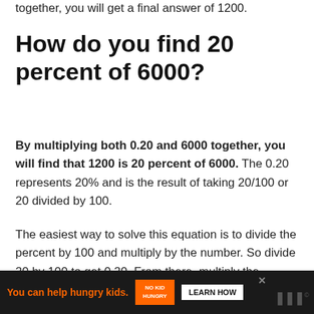together, you will get a final answer of 1200.
How do you find 20 percent of 6000?
By multiplying both 0.20 and 6000 together, you will find that 1200 is 20 percent of 6000. The 0.20 represents 20% and is the result of taking 20/100 or 20 divided by 100.
The easiest way to solve this equation is to divide the percent by 100 and multiply by the number. So divide 20 by 100 to get 0.20. From there, multiply the percent (now in decimal form) by 6000 to get
[Figure (other): Advertisement banner: orange and dark background with 'You can help hungry kids.' No Kid Hungry branding and LEARN HOW button]